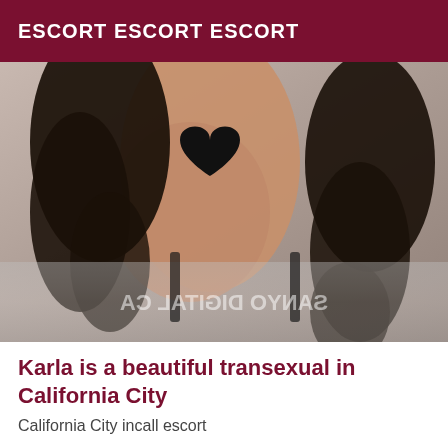ESCORT ESCORT ESCORT
[Figure (photo): A censored photo of a person with curly dark hair, upper body visible, with a black heart censor graphic, lying on silver/satin fabric. Watermark text 'SANYO DIGITAL CA' mirrored across the bottom of the image.]
Karla is a beautiful transexual in California City
California City incall escort